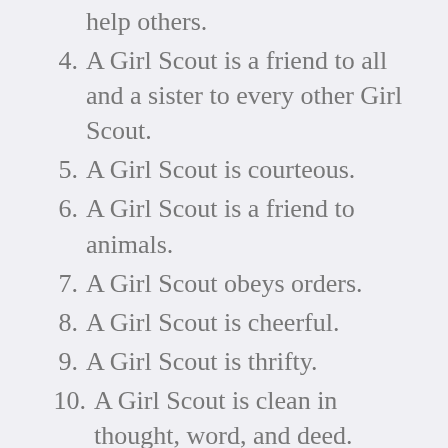help others.
4. A Girl Scout is a friend to all and a sister to every other Girl Scout.
5. A Girl Scout is courteous.
6. A Girl Scout is a friend to animals.
7. A Girl Scout obeys orders.
8. A Girl Scout is cheerful.
9. A Girl Scout is thrifty.
10. A Girl Scout is clean in thought, word, and deed.
I never heard my mother speak poorly of another girl, mom or volunteer. I never heard her complain about how much work it